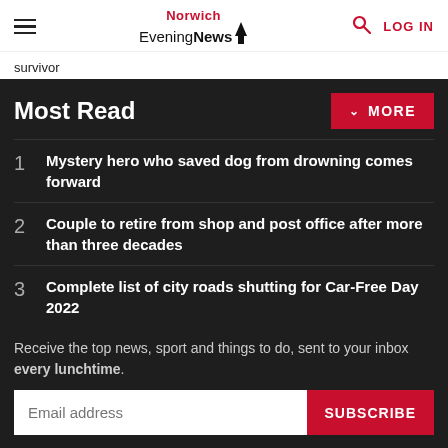Norwich Evening News — LOG IN
survivor
Most Read
1 Mystery hero who saved dog from drowning comes forward
2 Couple to retire from shop and post office after more than three decades
3 Complete list of city roads shutting for Car-Free Day 2022
Receive the top news, sport and things to do, sent to your inbox every lunchtime.
Email address [SUBSCRIBE]
Our Privacy Policy